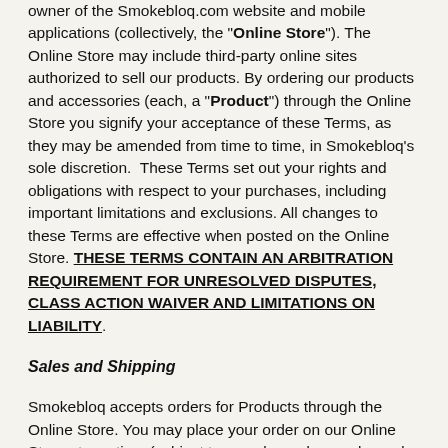owner of the Smokebloq.com website and mobile applications (collectively, the "Online Store"). The Online Store may include third-party online sites authorized to sell our products. By ordering our products and accessories (each, a "Product") through the Online Store you signify your acceptance of these Terms, as they may be amended from time to time, in Smokebloq's sole discretion.  These Terms set out your rights and obligations with respect to your purchases, including important limitations and exclusions. All changes to these Terms are effective when posted on the Online Store. THESE TERMS CONTAIN AN ARBITRATION REQUIREMENT FOR UNRESOLVED DISPUTES, CLASS ACTION WAIVER AND LIMITATIONS ON LIABILITY.
Sales and Shipping
Smokebloq accepts orders for Products through the Online Store. You may place your order on our Online Store at any time (subject to any planned or unplanned periodic downtime).  You must pay for the Products online at the time you place the order.